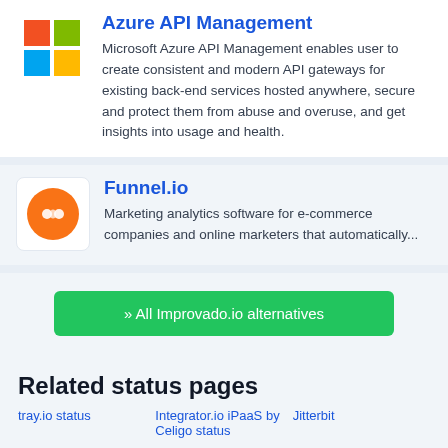Azure API Management
Microsoft Azure API Management enables user to create consistent and modern API gateways for existing back-end services hosted anywhere, secure and protect them from abuse and overuse, and get insights into usage and health.
Funnel.io
Marketing analytics software for e-commerce companies and online marketers that automatically...
» All Improvado.io alternatives
Related status pages
tray.io status    Integrator.io iPaaS by Celigo status    Jitterbit